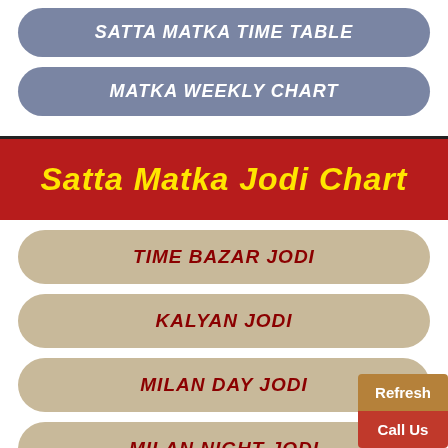SATTA MATKA TIME TABLE
MATKA WEEKLY CHART
Satta Matka Jodi Chart
TIME BAZAR JODI
KALYAN JODI
MILAN DAY JODI
MILAN NIGHT JODI
MADHUR DAY JODI